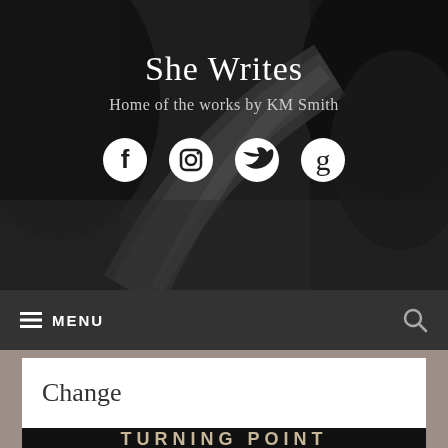[Figure (screenshot): Black and white photograph of a winding road through trees, used as the website header background]
She Writes
Home of the works by KM Smith
[Figure (infographic): Social media icons: Facebook, Instagram, Twitter, Goodreads]
≡ MENU
Change
[Figure (photo): Book cover for Turning Point, dark background with large stylized text reading TURNING POINT]